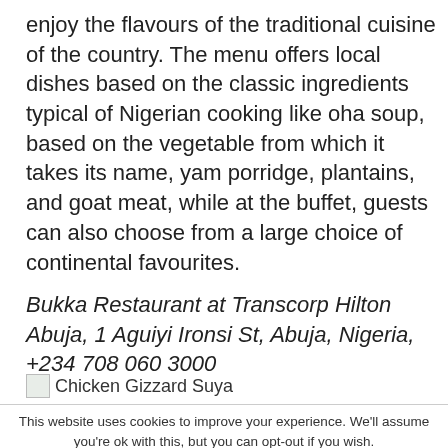enjoy the flavours of the traditional cuisine of the country. The menu offers local dishes based on the classic ingredients typical of Nigerian cooking like oha soup, based on the vegetable from which it takes its name, yam porridge, plantains, and goat meat, while at the buffet, guests can also choose from a large choice of continental favourites.
Bukka Restaurant at Transcorp Hilton Abuja, 1 Aguiyi Ironsi St, Abuja, Nigeria, +234 708 060 3000
Chicken Gizzard Suya
This website uses cookies to improve your experience. We'll assume you're ok with this, but you can opt-out if you wish.